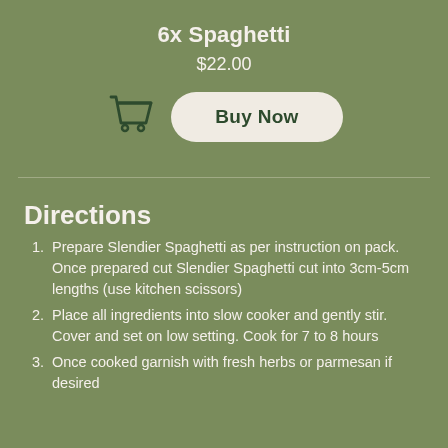6x Spaghetti
$22.00
[Figure (illustration): Shopping cart icon in dark green outline style]
Buy Now
Directions
Prepare Slendier Spaghetti as per instruction on pack. Once prepared cut Slendier Spaghetti cut into 3cm-5cm lengths (use kitchen scissors)
Place all ingredients into slow cooker and gently stir. Cover and set on low setting. Cook for 7 to 8 hours
Once cooked garnish with fresh herbs or parmesan if desired